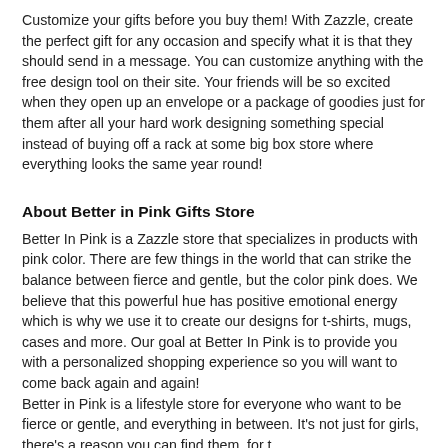Customize your gifts before you buy them! With Zazzle, create the perfect gift for any occasion and specify what it is that they should send in a message. You can customize anything with the free design tool on their site. Your friends will be so excited when they open up an envelope or a package of goodies just for them after all your hard work designing something special instead of buying off a rack at some big box store where everything looks the same year round!
About Better in Pink Gifts Store
Better In Pink is a Zazzle store that specializes in products with pink color. There are few things in the world that can strike the balance between fierce and gentle, but the color pink does. We believe that this powerful hue has positive emotional energy which is why we use it to create our designs for t-shirts, mugs, cases and more. Our goal at Better In Pink is to provide you with a personalized shopping experience so you will want to come back again and again!
Better in Pink is a lifestyle store for everyone who want to be fierce or gentle, and everything in between. It's not just for girls, there's a reason you can find them, for t...